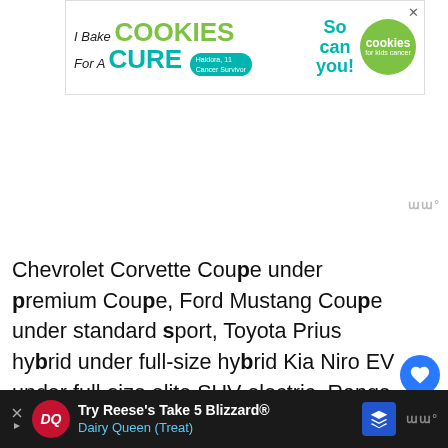[Figure (infographic): Advertisement banner: I Bake COOKIES For A CURE — Haldora, 11 Cancer Survivor — So can you! cookies for kids cancer]
Chevrolet Corvette Coupe under premium Coupe, Ford Mustang Coupe under standard sport, Toyota Prius hybrid under full-size hybrid Kia Niro EV under full-size elite SUV electric, Range Rover Velar under premium elite crossover, Mercedes-Benz C300 under standard
[Figure (infographic): Advertisement banner bottom: Try Reese's Take 5 Blizzard® Dairy Queen (Treat)]